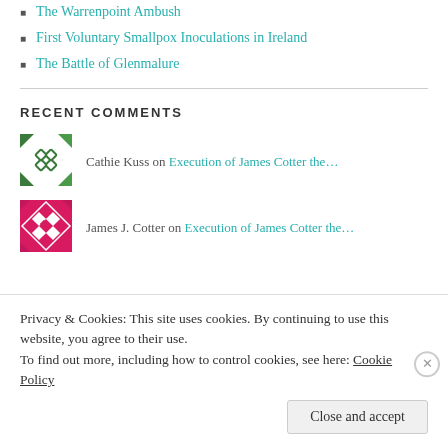The Warrenpoint Ambush
First Voluntary Smallpox Inoculations in Ireland
The Battle of Glenmalure
RECENT COMMENTS
Cathie Kuss on Execution of James Cotter the…
James J. Cotter on Execution of James Cotter the…
Privacy & Cookies: This site uses cookies. By continuing to use this website, you agree to their use.
To find out more, including how to control cookies, see here: Cookie Policy
Close and accept